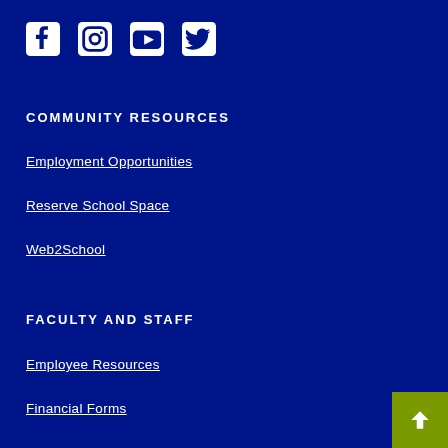[Figure (infographic): Social media icons: Facebook, Instagram, YouTube, Twitter — white icons on dark blue background]
COMMUNITY RESOURCES
Employment Opportunities
Reserve School Space
Web2School
FACULTY AND STAFF
Employee Resources
Financial Forms